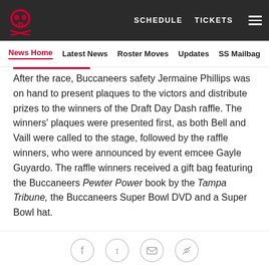SCHEDULE   TICKETS   ☰
News Home  Latest News  Roster Moves  Updates  SS Mailbag
After the race, Buccaneers safety Jermaine Phillips was on hand to present plaques to the victors and distribute prizes to the winners of the Draft Day Dash raffle. The winners' plaques were presented first, as both Bell and Vaill were called to the stage, followed by the raffle winners, who were announced by event emcee Gayle Guyardo. The raffle winners received a gift bag featuring the Buccaneers Pewter Power book by the Tampa Tribune, the Buccaneers Super Bowl DVD and a Super Bowl hat.
The Draft Day Dash was more than just fun and games, as all of the proceeds went to benefit the Buccaneers